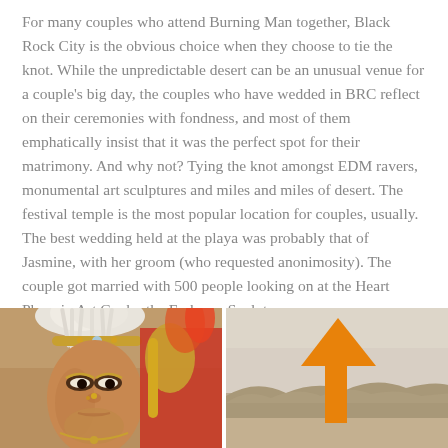For many couples who attend Burning Man together, Black Rock City is the obvious choice when they choose to tie the knot. While the unpredictable desert can be an unusual venue for a couple's big day, the couples who have wedded in BRC reflect on their ceremonies with fondness, and most of them emphatically insist that it was the perfect spot for their matrimony. And why not? Tying the knot amongst EDM ravers, monumental art sculptures and miles and miles of desert. The festival temple is the most popular location for couples, usually. The best wedding held at the playa was probably that of Jasmine, with her groom (who requested anonimosity). The couple got married with 500 people looking on at the Heart Phoenix Art Car by the Embrace Sculpture.
[Figure (photo): Close-up photo of a woman wearing an ornate white and gold headdress and elaborate facial jewelry and makeup, with another person in a colorful feathered costume behind her.]
[Figure (photo): Desert landscape photo with a large orange upward-pointing arrow overlay, mountains and hazy sky in the background.]